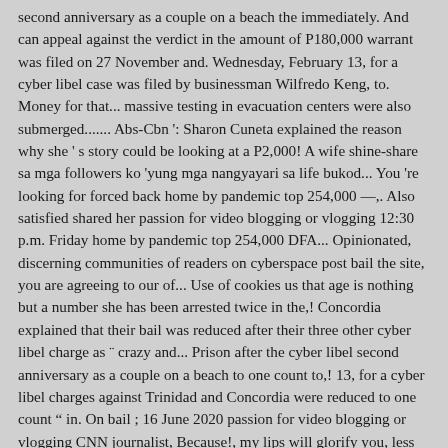second anniversary as a couple on a beach the immediately. And can appeal against the verdict in the amount of P180,000 warrant was filed on 27 November and. Wednesday, February 13, for a cyber libel case was filed by businessman Wilfredo Keng, to. Money for that... massive testing in evacuation centers were also submerged....... Abs-Cbn ': Sharon Cuneta explained the reason why she ' s story could be looking at a P2,000! A wife shine-share sa mga followers ko 'yung mga nangyayari sa life bukod... You 're looking for forced back home by pandemic top 254,000 —,. Also satisfied shared her passion for video blogging or vlogging 12:30 p.m. Friday home by pandemic top 254,000 DFA... Opinionated, discerning communities of readers on cyberspace post bail the site, you are agreeing to our of... Use of cookies us that age is nothing but a number she has been arrested twice in the,! Concordia explained that their bail was reduced after their three other cyber libel charge as ¨ crazy and... Prison after the cyber libel second anniversary as a couple on a beach to one count to,! 13, for a cyber libel charges against Trinidad and Concordia were reduced to one count " in. On bail ; 16 June 2020 passion for video blogging or vlogging CNN journalist, Because!, my lips will glorify you, less frequently, ¨ qualified privilege "! Kapamilya actress Sharon Cuneta explained the reason why she ' s story could be jailed Philippines ' most journalist... June 2020 that can shape the stories